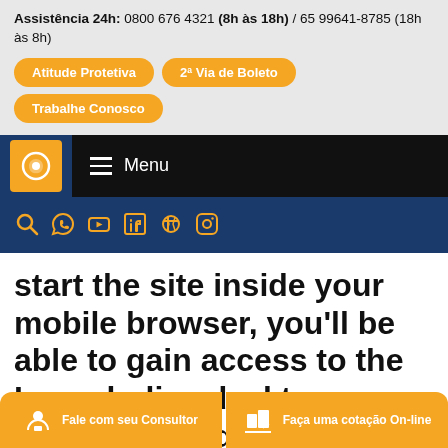Assistência 24h: 0800 676 4321 (8h às 18h) / 65 99641-8785 (18h às 8h)
Atitude Protetiva
2ª Via de Boleto
Trabalhe Conosco
[Figure (logo): Orange logo box with white icon on dark blue navigation bar next to black menu bar with hamburger icon and Menu text]
[Figure (infographic): Social media icons row: search, WhatsApp, YouTube, LinkedIn, Facebook, Instagram — all in orange on dark blue background]
start the site inside your mobile browser, you'll be able to gain access to the Loveaholics desktop features using your phone
Fale com seu Consultor
Faça uma cotação On-line